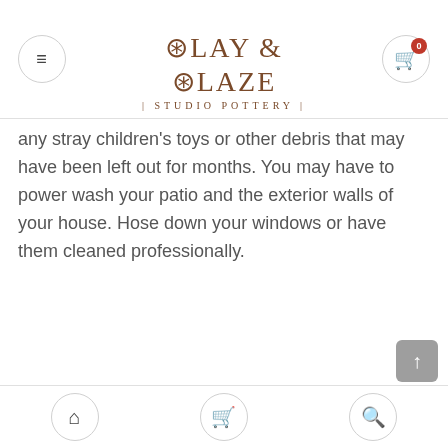Clay & Glaze | Studio Pottery |
any stray children's toys or other debris that may have been left out for months. You may have to power wash your patio and the exterior walls of your house. Hose down your windows or have them cleaned professionally.
Navigation bar with home, store, and search icons